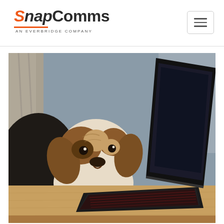[Figure (logo): SnapComms logo with orange S and italic styling, subtitle 'AN EVERBRIDGE COMPANY']
[Figure (other): Hamburger menu button icon (three horizontal lines) in a rounded rectangle border]
[Figure (photo): Photo of a stuffed animal dog toy sitting behind a wooden desk with an open laptop in front of it, in a dim office room with curtains and a grey wall]